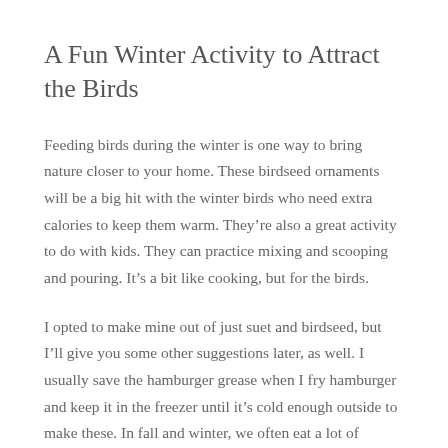A Fun Winter Activity to Attract the Birds
Feeding birds during the winter is one way to bring nature closer to your home. These birdseed ornaments will be a big hit with the winter birds who need extra calories to keep them warm. They’re also a great activity to do with kids. They can practice mixing and scooping and pouring. It’s a bit like cooking, but for the birds.
I opted to make mine out of just suet and birdseed, but I’ll give you some other suggestions later, as well. I usually save the hamburger grease when I fry hamburger and keep it in the freezer until it’s cold enough outside to make these. In fall and winter, we often eat a lot of venison so I